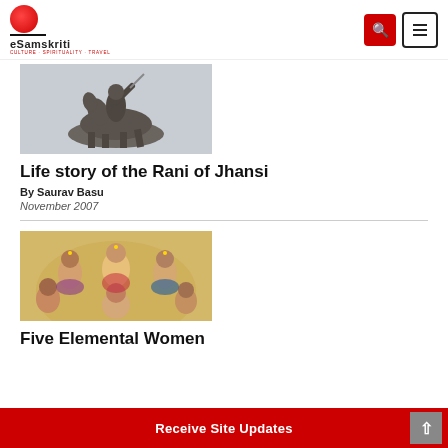eSamskriti — Culture Spirituality Travel
[Figure (photo): Statue of Rani of Jhansi on horseback against a grey sky]
Life story of the Rani of Jhansi
By Saurav Basu
November 2007
[Figure (illustration): Collage illustration of five notable Indian women with traditional appearance]
Five Elemental Women
Receive Site Updates